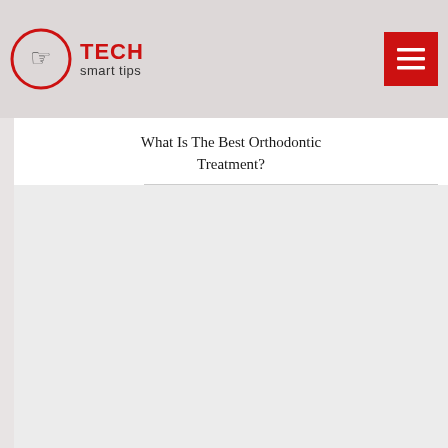Tech Smart Tips
What Is The Best Orthodontic Treatment?
[Figure (photo): Article thumbnail image for How To Find A Medicaid Dentist In Your Area]
How To Find A Medicaid Dentist In Your Area?
[Figure (photo): Article thumbnail image for third article]
What Happens When You W...